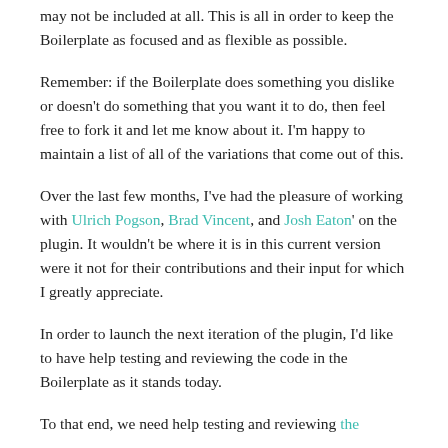may not be included at all. This is all in order to keep the Boilerplate as focused and as flexible as possible.
Remember: if the Boilerplate does something you dislike or doesn't do something that you want it to do, then feel free to fork it and let me know about it. I'm happy to maintain a list of all of the variations that come out of this.
Over the last few months, I've had the pleasure of working with Ulrich Pogson, Brad Vincent, and Josh Eaton' on the plugin. It wouldn't be where it is in this current version were it not for their contributions and their input for which I greatly appreciate.
In order to launch the next iteration of the plugin, I'd like to have help testing and reviewing the code in the Boilerplate as it stands today.
To that end, we need help testing and reviewing the